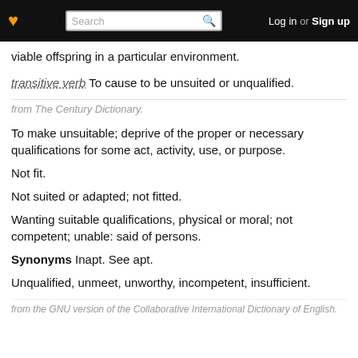Search | Log in or Sign up
viable offspring in a particular environment.
transitive verb To cause to be unsuited or unqualified.
from The Century Dictionary.
To make unsuitable; deprive of the proper or necessary qualifications for some act, activity, use, or purpose.
Not fit.
Not suited or adapted; not fitted.
Wanting suitable qualifications, physical or moral; not competent; unable: said of persons.
Synonyms Inapt. See apt.
Unqualified, unmeet, unworthy, incompetent, insufficient.
from the GNU version of the Collaborative International Dictionary of English.